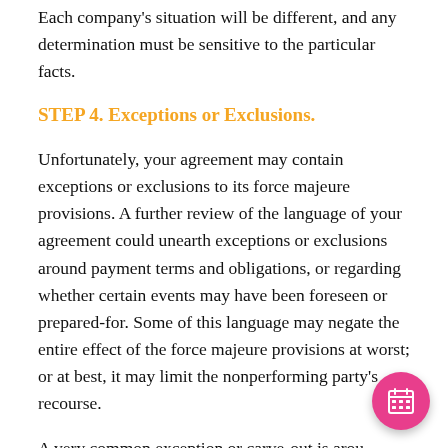Each company's situation will be different, and any determination must be sensitive to the particular facts.
STEP 4. Exceptions or Exclusions.
Unfortunately, your agreement may contain exceptions or exclusions to its force majeure provisions. A further review of the language of your agreement could unearth exceptions or exclusions around payment terms and obligations, or regarding whether certain events may have been foreseen or prepared-for. Some of this language may negate the entire effect of the force majeure provisions at worst; or at best, it may limit the nonperforming party's recourse.
A very common exception or carve-out is around a party's obligation to pay timely for goods and